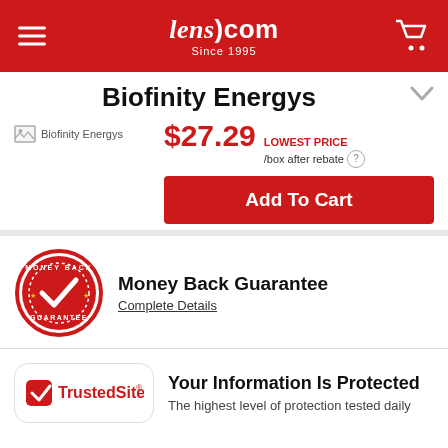Lens.com Since 1995
Biofinity Energys
$27.29 LOWEST PRICE /box after rebate
Add To Cart
[Figure (logo): Money Back Guarantee red stamp badge with checkmark]
Money Back Guarantee
Complete Details
[Figure (logo): TrustedSite badge with red checkmark]
Your Information Is Protected
The highest level of protection tested daily